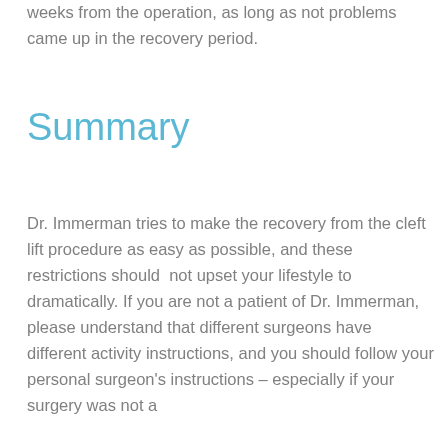weeks from the operation, as long as not problems came up in the recovery period.
Summary
Dr. Immerman tries to make the recovery from the cleft lift procedure as easy as possible, and these restrictions should  not upset your lifestyle to dramatically. If you are not a patient of Dr. Immerman, please understand that different surgeons have different activity instructions, and you should follow your personal surgeon's instructions – especially if your surgery was not a